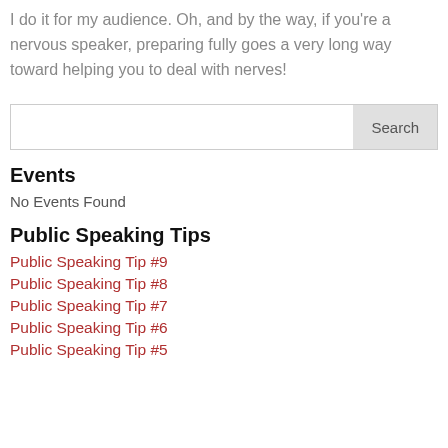I do it for my audience. Oh, and by the way, if you're a nervous speaker, preparing fully goes a very long way toward helping you to deal with nerves!
Events
No Events Found
Public Speaking Tips
Public Speaking Tip #9
Public Speaking Tip #8
Public Speaking Tip #7
Public Speaking Tip #6
Public Speaking Tip #5